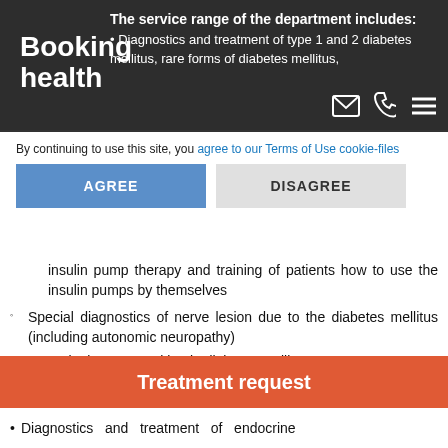Booking health — The service range of the department includes:
By continuing to use this site, you agree to our Terms of Use cookie-files
insulin pump therapy and training of patients how to use the insulin pumps by themselves
Special diagnostics of nerve lesion due to the diabetes mellitus (including autonomic neuropathy)
Consultations on nutrition in diabetes mellitus
Diagnostics and treatment of diabetic foot
Prevention of cardiovascular diseases
Interdisciplinary consultation on obesity
Diagnostics and therapy of lipid metabolism disorders
Treatment request
Diagnostics and treatment of endocrine